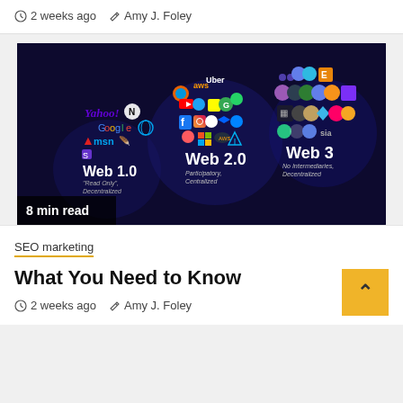2 weeks ago  Amy J. Foley
[Figure (illustration): Dark blue/navy background infographic showing the evolution of the web. Three clusters of app/brand logos represent Web 1.0 (Yahoo, Google, MSN, IE - 'Read Only, Decentralized'), Web 2.0 (AWS, Uber, YouTube, Firefox, Twitter, Snapchat, Google, WhatsApp, Facebook, Instagram, Chrome, Dropbox, Messenger, Airbnb, Microsoft, AWS - 'Participatory, Centralized'), and Web 3 (various crypto/blockchain icons - 'No Intermediaries, Decentralized'). Badge in bottom-left reads '8 min read'.]
8 min read
SEO marketing
What You Need to Know
2 weeks ago  Amy J. Foley